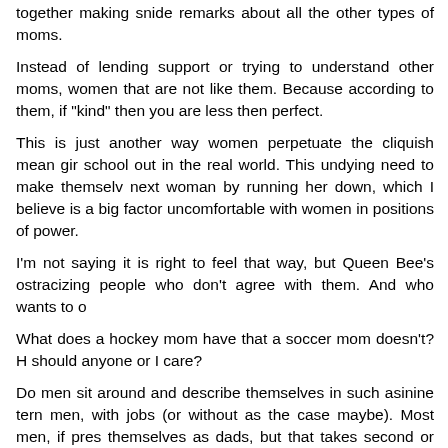together making snide remarks about all the other types of moms.
Instead of lending support or trying to understand other moms, women that are not like them. Because according to them, if "kind" then you are less then perfect.
This is just another way women perpetuate the cliquish mean gir school out in the real world. This undying need to make themselv next woman by running her down, which I believe is a big factor uncomfortable with women in positions of power.
I'm not saying it is right to feel that way, but Queen Bee's ostracizing people who don't agree with them. And who wants to o
What does a hockey mom have that a soccer mom doesn't? H should anyone or I care?
Do men sit around and describe themselves in such asinine tern men, with jobs (or without as the case maybe). Most men, if pres themselves as dads, but that takes second or even third pla interests/careers.
When men do say they are dads, they say they are dads, just d need to add that they are hockey dads or Girl Scout dads.
If all women would stop labeling themselves then maybe, we c one of the biggest battles that women wage against one anoth working mom versus the stay-at-home mom war.